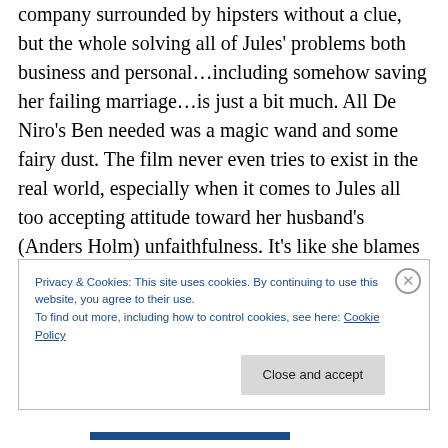company surrounded by hipsters without a clue, but the whole solving all of Jules' problems both business and personal…including somehow saving her failing marriage…is just a bit much. All De Niro's Ben needed was a magic wand and some fairy dust. The film never even tries to exist in the real world, especially when it comes to Jules all too accepting attitude toward her husband's (Anders Holm) unfaithfulness. It's like she blames herself for being a busy businesswoman and chasing him away. Really? What is the message THERE? Add to that, some of Hathaway and De Niro's scenes
Privacy & Cookies: This site uses cookies. By continuing to use this website, you agree to their use.
To find out more, including how to control cookies, see here: Cookie Policy